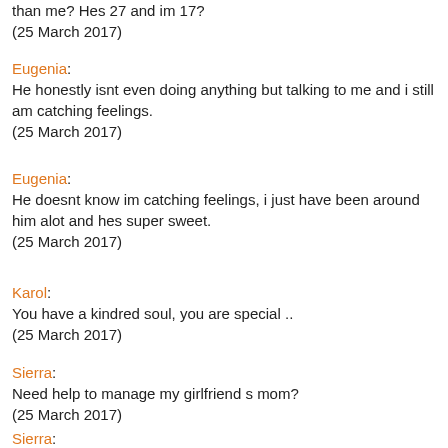than me? Hes 27 and im 17?
(25 March 2017)
Eugenia:
He honestly isnt even doing anything but talking to me and i still am catching feelings.
(25 March 2017)
Eugenia:
He doesnt know im catching feelings, i just have been around him alot and hes super sweet.
(25 March 2017)
Karol:
You have a kindred soul, you are special ..
(25 March 2017)
Sierra:
Need help to manage my girlfriend s mom?
(25 March 2017)
Sierra: